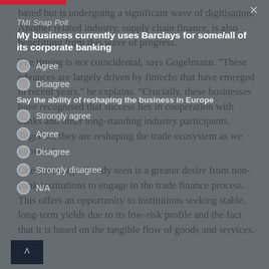based but is undergoing a significant wave of digitisation. Another related industry, supply chain finance, is also benefitting from this wave of progress.
The timing is not coincidental, says Gugelmann. "These advances are largely driven by fintechs that have emerged in recent years," he explains. "Crucially, these businesses have recognised that success lies in cooperation with banks and other long-standing industry participants. Together, they are reshaping the trade ecosystem as we know it."
One advantage already seen is a greater desire from non-bank institutions to engage in the trade finance process. This offers an opportunity to institutions seeking stable, long-term yields due to its low-risk profile and the fact that it is based on the tangible flow of goods and services.
TMI Snap Poll
My business currently uses Barclays for some/all of its corporate banking
Say the ability of reshaping the business in Europe
Agree
Disagree
Strongly agree
Agree
Disagree
Strongly disagree
N/A